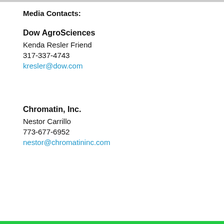Media Contacts:
Dow AgroSciences
Kenda Resler Friend
317-337-4743
kresler@dow.com
Chromatin, Inc.
Nestor Carrillo
773-677-6952
nestor@chromatininc.com